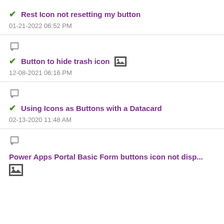✔ Rest Icon not resetting my button
01-21-2022 06:52 PM
✔ Button to hide trash icon [image icon]
12-08-2021 06:16 PM
✔ Using Icons as Buttons with a Datacard
02-13-2020 11:48 AM
Power Apps Portal Basic Form buttons icon not disp...
[image icon]